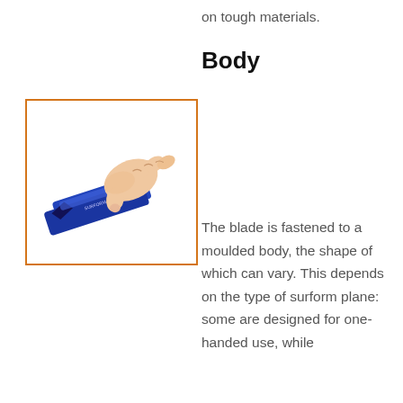on tough materials.
Body
[Figure (illustration): A hand gripping a blue surform plane / block plane tool, shown from the side. The tool has a dark blue rectangular body. The hand is drawn in an illustrative style with warm skin tones. The image is framed with an orange/amber border.]
The blade is fastened to a moulded body, the shape of which can vary. This depends on the type of surform plane: some are designed for one-handed use, while